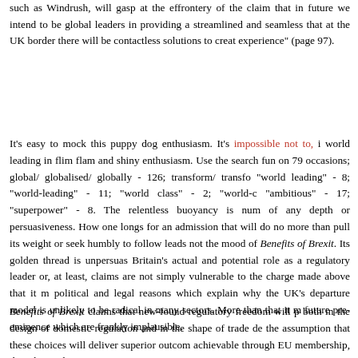such as Windrush, will gasp at the effrontery of the claim that in future we intend to be global leaders in providing a streamlined and seamless ... that at the UK border there will be contactless solutions to creat... experience" (page 97).
It's easy to mock this puppy dog enthusiasm. It's impossible not to, in a world leading in flim flam and shiny enthusiasm. Use the search function on 79 occasions; global/ globalised/ globally - 126; transform/ transfo... "world leading" - 8; "world-leading" - 11; "world class" - 2; "world-c... "ambitious" - 17; "superpower" - 8. The relentless buoyancy is num... of any depth or persuasiveness. How one longs for an admission that ... will do no more than pull its weight or seek humbly to follow leads ... not the mood of Benefits of Brexit. Its golden thread is unpersuasive ... Britain's actual and potential role as a regulatory leader or, at least, ... claims are not simply vulnerable to the charge made above that it m... political and legal reasons which explain why the UK's departure ... model is unlikely to be radical in many sectors. More than that it m... future pre-eminence which are frankly implausible.
Benefits of Brexit claims that new-found regulatory freedom will p... both in the design of domestic regulation and in the shape of trade de... the assumption that these choices will deliver superior outcom... achievable through EU membership, though one that animates B...